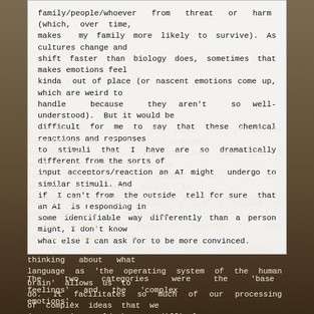family/people/whoever from threat or harm (which, over time, makes my family more likely to survive). As cultures change and shift faster than biology does, sometimes that makes emotions feel kinda out of place (or nascent emotions come up, which are weird to handle because they aren't so well-understood). But it would be difficult for me to say that these chemical reactions and responses to stimuli that I have are so dramatically different from the sorts of input acceptors/reaction an AI might undergo to similar stimuli. And if I can't from the outside tell for sure that an AI is responding in some identifiable way differently than a person might, I don't know what else I can ask for to be more convinced.
I agree with you on the point of 'if it is functioning as if it is thinking and feeling, then... I'm not sure what else I need it to pass for me to feel compelled to accept that I am dealing with (and should be thinking in terms of) a thinking and feeling being.
One thing I thought about a lot a couple of years ago was a difference I saw between two types of feelings. It came to mind while I was in courses about language, and consequently thinking about what language as 'the operating system of the human brain' allows us to do. It facilitates so much of our processing of complex ideas that we just... it would be so difficult to grasp onto concepts for consideration without it.
The two categories were the 'base feelings' and the 'complex emotions'.
'Base feelings' were the ones that were simple, and highly useful to